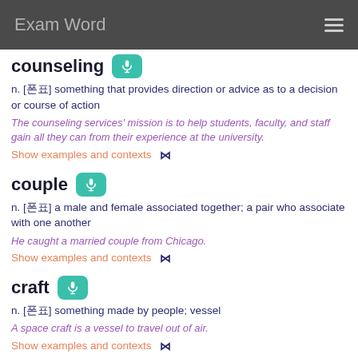Exam Word
counseling
n. [音标] something that provides direction or advice as to a decision or course of action
The counseling services' mission is to help students, faculty, and staff gain all they can from their experience at the university.
Show examples and contexts
couple
n. [音标] a male and female associated together; a pair who associate with one another
He caught a married couple from Chicago.
Show examples and contexts
craft
n. [音标] something made by people; vessel
A space craft is a vessel to travel out of air.
Show examples and contexts